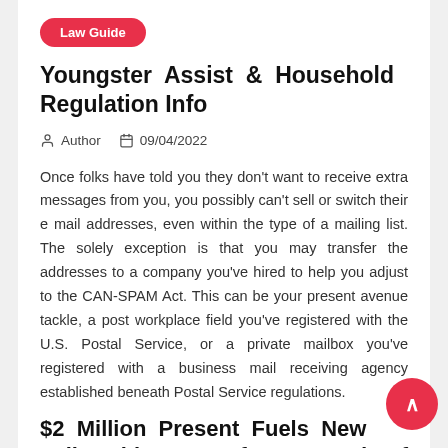Law Guide
Youngster Assist & Household Regulation Info
Author   09/04/2022
Once folks have told you they don't want to receive extra messages from you, you possibly can't sell or switch their e mail addresses, even within the type of a mailing list. The solely exception is that you may transfer the addresses to a company you've hired to help you adjust to the CAN-SPAM Act. This can be your present avenue tackle, a post workplace field you've registered with the U.S. Postal Service, or a private mailbox you've registered with a business mail receiving agency established beneath Postal Service regulations.
$2 Million Present Fuels New Fellowships At Uf Law And Uf College Of Journalism